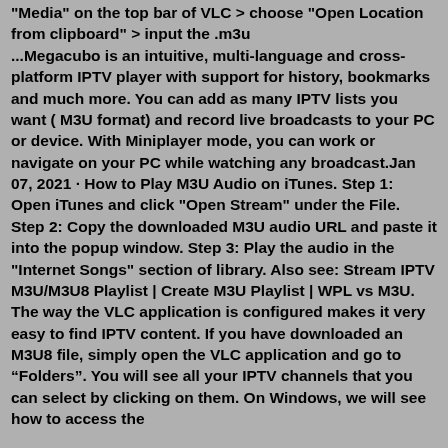"Media" on the top bar of VLC > choose "Open Location from clipboard" > input the .m3u ...Megacubo is an intuitive, multi-language and cross-platform IPTV player with support for history, bookmarks and much more. You can add as many IPTV lists you want ( M3U format) and record live broadcasts to your PC or device. With Miniplayer mode, you can work or navigate on your PC while watching any broadcast.Jan 07, 2021 · How to Play M3U Audio on iTunes. Step 1: Open iTunes and click "Open Stream" under the File. Step 2: Copy the downloaded M3U audio URL and paste it into the popup window. Step 3: Play the audio in the "Internet Songs" section of library. Also see: Stream IPTV M3U/M3U8 Playlist | Create M3U Playlist | WPL vs M3U. The way the VLC application is configured makes it very easy to find IPTV content. If you have downloaded an M3U8 file, simply open the VLC application and go to “Folders”. You will see all your IPTV channels that you can select by clicking on them. On Windows, we will see how to access the